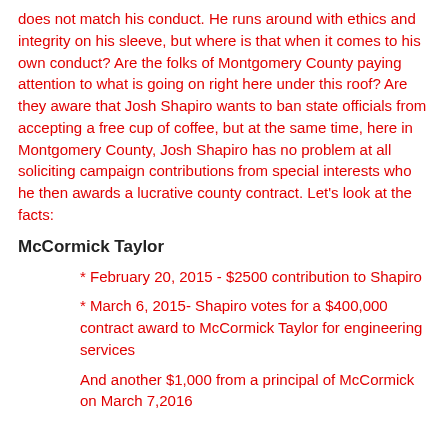does not match his conduct. He runs around with ethics and integrity on his sleeve, but where is that when it comes to his own conduct? Are the folks of Montgomery County paying attention to what is going on right here under this roof? Are they aware that Josh Shapiro wants to ban state officials from accepting a free cup of coffee, but at the same time, here in Montgomery County, Josh Shapiro has no problem at all soliciting campaign contributions from special interests who he then awards a lucrative county contract. Let's look at the facts:
McCormick Taylor
* February 20, 2015 - $2500 contribution to Shapiro
* March 6, 2015- Shapiro votes for a $400,000 contract award to McCormick Taylor for engineering services
And another $1,000 from a principal of McCormick on March 7,2016